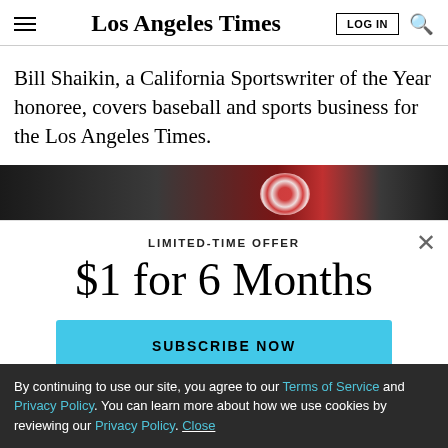Los Angeles Times
Bill Shaikin, a California Sportswriter of the Year honoree, covers baseball and sports business for the Los Angeles Times.
[Figure (photo): Dark photo strip showing a sports ball (soccer/football) with red and white coloring against a dark background]
LIMITED-TIME OFFER
$1 for 6 Months
SUBSCRIBE NOW
By continuing to use our site, you agree to our Terms of Service and Privacy Policy. You can learn more about how we use cookies by reviewing our Privacy Policy. Close